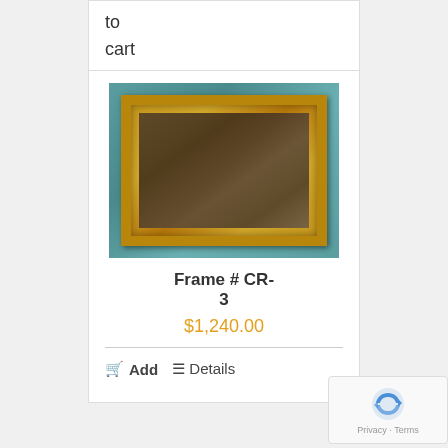to
cart
[Figure (photo): Antique ornate gold picture frame with dark mirror/glass interior, set against a teal/blue background.]
Frame # CR-3
$1,240.00
Add   Details